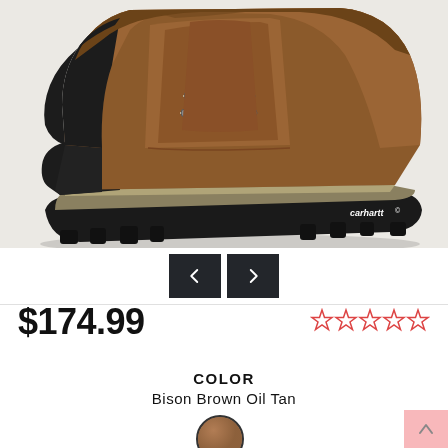[Figure (photo): Brown Carhartt lace-up work boot with black rubber toe cap, black sole, and tan/khaki midsole. Side profile view showing chunky lug sole with 'carhartt' branding.]
$174.99
[Figure (other): Five outline star rating icons in pink/red, indicating 0 out of 5 stars]
COLOR
Bison Brown Oil Tan
[Figure (photo): Small circular color swatch showing brown leather texture for Bison Brown Oil Tan color option]
[Figure (other): Pink back-to-top button in bottom right corner with upward arrow]